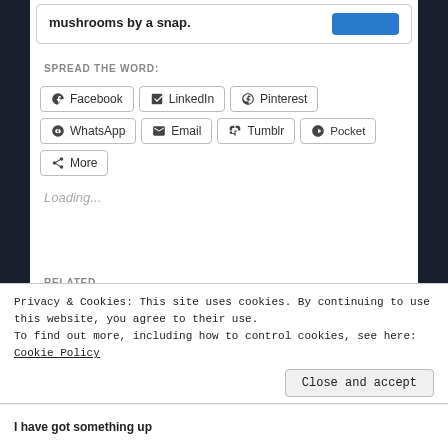mushrooms by a snap.
SPREAD THE WORD:
[Figure (screenshot): Social share buttons: Facebook, LinkedIn, Pinterest, WhatsApp, Email, Tumblr, Pocket, More]
Loading...
RELATED
Privacy & Cookies: This site uses cookies. By continuing to use this website, you agree to their use.
To find out more, including how to control cookies, see here: Cookie Policy
Close and accept
I have got something up